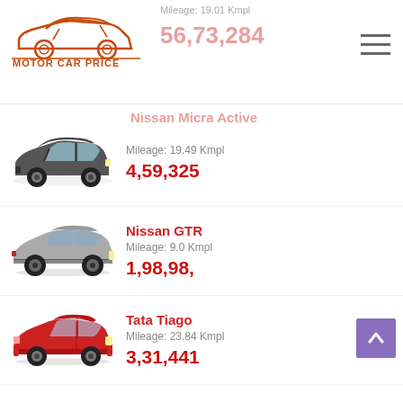[Figure (logo): Motor Car Price logo with car illustration]
Mileage: 19.01 Kmpl
56,73,284
Nissan Micra Active
[Figure (photo): Nissan Micra Active - dark grey hatchback car]
Mileage: 19.49 Kmpl
4,59,325
Nissan GTR
[Figure (photo): Nissan GTR - silver sports car]
Mileage: 9.0 Kmpl
1,98,98,
Tata Tiago
[Figure (photo): Tata Tiago - red hatchback car]
Mileage: 23.84 Kmpl
3,31,441
Mahindra Supro
[Figure (photo): Mahindra Supro - green van]
Mileage: 23.50 Kmpl
4,83,472
Maruti Suzuki Vitara Brezza